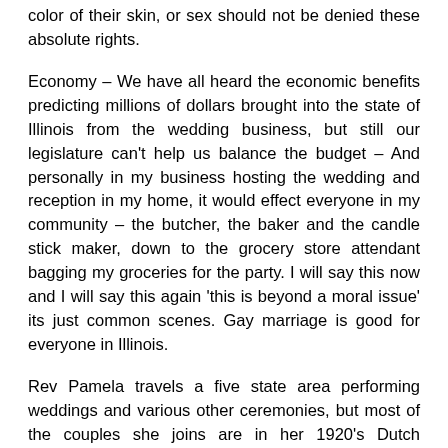color of their skin, or sex should not be denied these absolute rights.
Economy – We have all heard the economic benefits predicting millions of dollars brought into the state of Illinois from the wedding business, but still our legislature can't help us balance the budget – And personally in my business hosting the wedding and reception in my home, it would effect everyone in my community – the butcher, the baker and the candle stick maker, down to the grocery store attendant bagging my groceries for the party. I will say this now and I will say this again 'this is beyond a moral issue' its just common scenes. Gay marriage is good for everyone in Illinois.
Rev Pamela travels a five state area performing weddings and various other ceremonies, but most of the couples she joins are in her 1920's Dutch Colonial and backyard garden. Gay Friendly Civil Union Officiant has Intimate wedding packages that include everything from the invitations, flowers, cake,